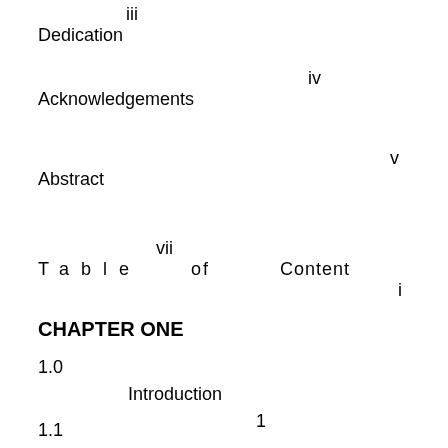iii
Dedication
iv
Acknowledgements
v
Abstract
vii
Table of Contents i
CHAPTER ONE
1.0   Introduction   1
1.1